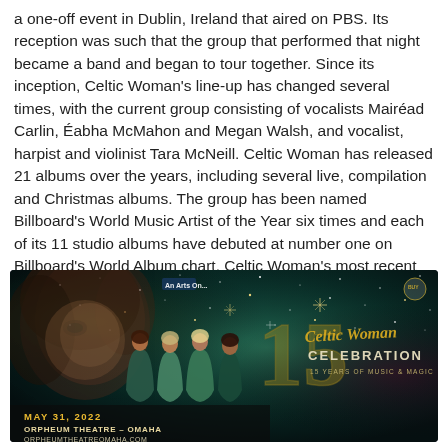a one-off event in Dublin, Ireland that aired on PBS. Its reception was such that the group that performed that night became a band and began to tour together. Since its inception, Celtic Woman's line-up has changed several times, with the current group consisting of vocalists Mairéad Carlin, Éabha McMahon and Megan Walsh, and vocalist, harpist and violinist Tara McNeill. Celtic Woman has released 21 albums over the years, including several live, compilation and Christmas albums. The group has been named Billboard's World Music Artist of the Year six times and each of its 11 studio albums have debuted at number one on Billboard's World Album chart. Celtic Woman's most recent album is 2019's The Magic of Christmas.
[Figure (illustration): Celtic Woman Celebration concert promotional poster. Shows four female performers in teal/dark gowns standing in the center, with a large stylized woman's face in the background on the left. The background features a dark teal/green starry night atmosphere. Gold text reads 'Celtic Woman' in script with 'CELEBRATION' below and '15 YEARS OF MUSIC & MAGIC'. Bottom text reads 'MAY 31, 2022 / ORPHEUM THEATRE - OMAHA / ORPHEUMTHEATREOMAHA.COM'. There is a PBS logo and another logo in the upper portion.]